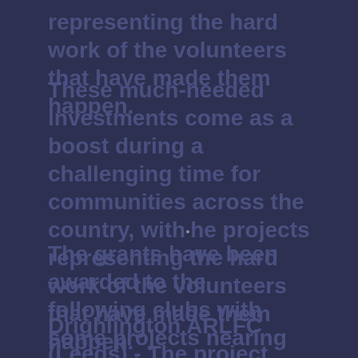representing the hard work of the volunteers that have made them happen.
These much-needed investments come as a boost during a challenging time for communities across the country, with the projects representing the hard work of the volunteers that have made them happen.
The grants have been awarded to the following clubs with some projects nearing completion:
Drighlington ARLFC (Leeds) - The project will see the club relocate their clubhouse facilities to the...